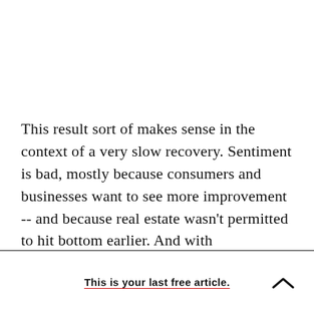This result sort of makes sense in the context of a very slow recovery. Sentiment is bad, mostly because consumers and businesses want to see more improvement -- and because real estate wasn't permitted to hit bottom earlier. And with employment, the official statistics were actually
This is your last free article.